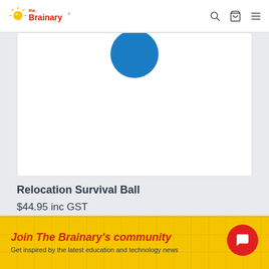The Brainary
[Figure (photo): Product image area showing the top portion of a Relocation Survival Ball product with a blue circular badge/sticker on white background]
Relocation Survival Ball
$44.95 inc GST
$40.86 ex GST
Join The Brainary's community
Get inspired by the latest education and technology news